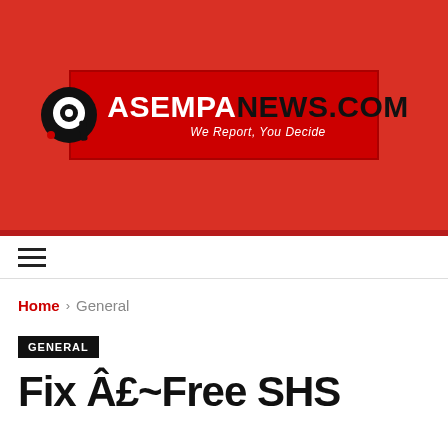[Figure (logo): AsempaNews.com logo — red banner with circular 'a' icon on left, bold white text 'ASEMPA' followed by 'NEWS.COM' in dark, italic tagline 'We Report, You Decide']
Home > General
GENERAL
Fix Â£~Free SHS